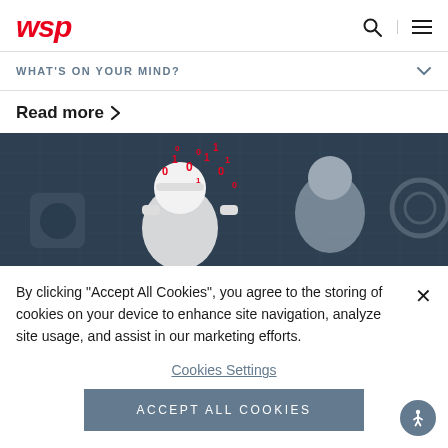wsp
WHAT'S ON YOUR MIND?
Read more >
[Figure (illustration): Dark teal illustrated scene with a robotic/digital figure surrounded by floating binary numbers (0s and 1s) in red, with mechanical or robotic elements in the background on a grid pattern.]
By clicking “Accept All Cookies”, you agree to the storing of cookies on your device to enhance site navigation, analyze site usage, and assist in our marketing efforts.
Cookies Settings
Accept All Cookies